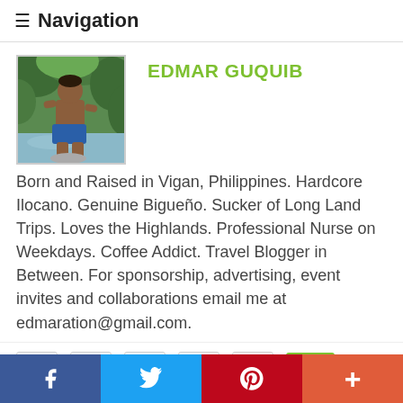≡ Navigation
[Figure (photo): Profile photo of Edmar Guquib standing near water with trees in background]
EDMAR GUQUIB
Born and Raised in Vigan, Philippines. Hardcore Ilocano. Genuine Bigueño. Sucker of Long Land Trips. Loves the Highlands. Professional Nurse on Weekdays. Coffee Addict. Travel Blogger in Between. For sponsorship, advertising, event invites and collaborations email me at edmaration@gmail.com.
[Figure (infographic): Social media icon bar with Twitter, Facebook, Google+, Pinterest, Instagram, YouTube icons and a green button]